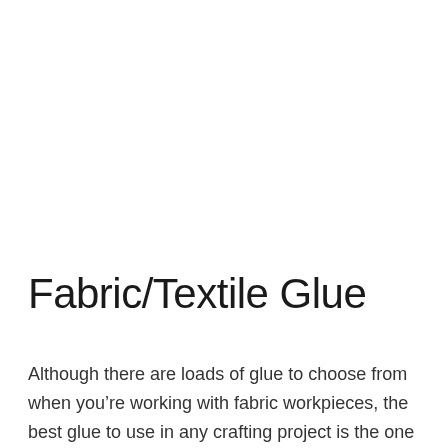Fabric/Textile Glue
Although there are loads of glue to choose from when you’re working with fabric workpieces, the best glue to use in any crafting project is the one that has been formulated specifically for use with the material in question. In this instance, the best glue for fabric is (arguably) textile or fabric glue. Fabric